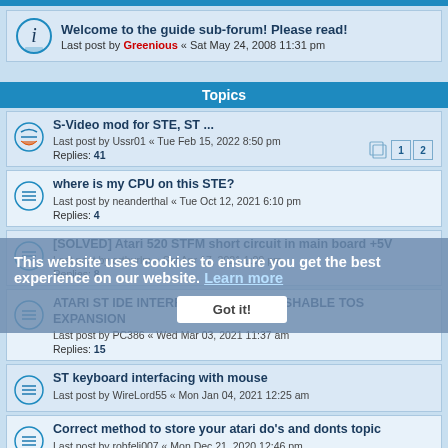Welcome to the guide sub-forum! Please read! Last post by Greenious « Sat May 24, 2008 11:31 pm
Topics
S-Video mod for STE, ST ... Last post by Ussr01 « Tue Feb 15, 2022 8:50 pm Replies: 41
where is my CPU on this STE? Last post by neanderthal « Tue Oct 12, 2021 6:10 pm Replies: 4
[SOLVED] Atari 520 STFM short circuit in main board +5V Last post by arthurlm « Sat Apr 17, 2021 1:09 pm Replies: 8
ATARI ST IDE INTERFACE V2.00 & FLASHABLE TOS EXPANSION Last post by PC386 « Wed Mar 03, 2021 11:37 am Replies: 15
ST keyboard interfacing with mouse Last post by WireLord55 « Mon Jan 04, 2021 12:25 am
Correct method to store your atari do's and donts topic Last post by robfeli007 « Mon Dec 21, 2020 12:46 pm Replies: 10
Mega ST4 repairs - help, please Last post by scsilord « Fri Dec 18, 2020 8:08 am Replies: 36
This website uses cookies to ensure you get the best experience on our website. Learn more Got it!